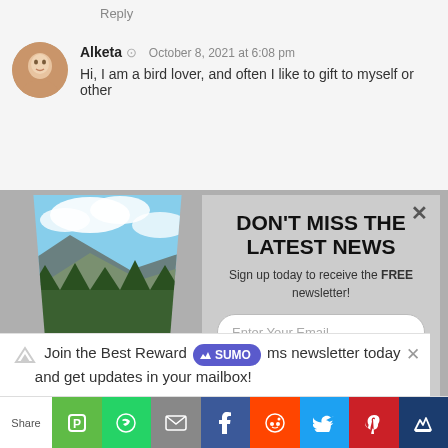Reply
Alketa  October 8, 2021 at 6:08 pm
Hi, I am a bird lover, and often I like to gift to myself or other
[Figure (photo): Road through a forested mountain landscape with blue sky and clouds]
DON'T MISS THE LATEST NEWS
Sign up today to receive the FREE newsletter!
Enter Your Email
SUBSCRIBE NOW
No Thanks
Join the Best Reward Programs newsletter today and get updates in your mailbox!
Share